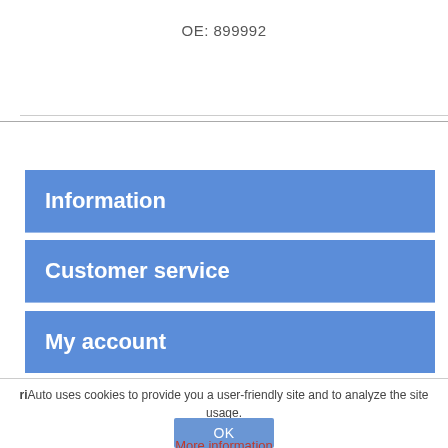OE: 899992
Information
Customer service
My account
riAuto uses cookies to provide you a user-friendly site and to analyze the site usage.
OK
More information